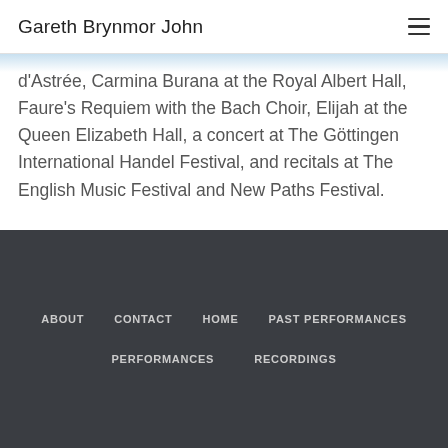Gareth Brynmor John
d'Astrée, Carmina Burana at the Royal Albert Hall, Faure's Requiem with the Bach Choir, Elijah at the Queen Elizabeth Hall, a concert at The Göttingen International Handel Festival, and recitals at The English Music Festival and New Paths Festival.
Please ask before reproducing this biography.
ABOUT   CONTACT   HOME   PAST PERFORMANCES   PERFORMANCES   RECORDINGS